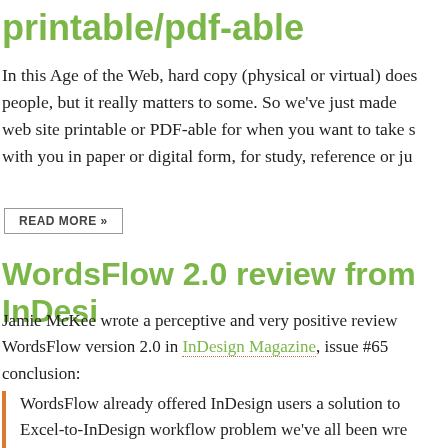printable/pdf-able
In this Age of the Web, hard copy (physical or virtual) does people, but it really matters to some. So we've just made web site printable or PDF-able for when you want to take s with you in paper or digital form, for study, reference or ju
READ MORE »
WordsFlow 2.0 review from InDesi
Jamie McKee wrote a perceptive and very positive review of WordsFlow version 2.0 in InDesign Magazine, issue #65 conclusion:
WordsFlow already offered InDesign users a solution to Excel-to-InDesign workflow problem we've all been wre updating linked files without losing formatting. WordsFlo